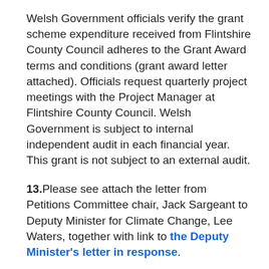Welsh Government officials verify the grant scheme expenditure received from Flintshire County Council adheres to the Grant Award terms and conditions (grant award letter attached). Officials request quarterly project meetings with the Project Manager at Flintshire County Council. Welsh Government is subject to internal independent audit in each financial year.  This grant is not subject to an external audit.
13. Please see attach the letter from Petitions Committee chair, Jack Sargeant to Deputy Minister for Climate Change, Lee Waters, together with link to the Deputy Minister's letter in response.
Please see the recording from the Petitions Committee discussing the 20mph Petition.
There have been no meetings between Welsh